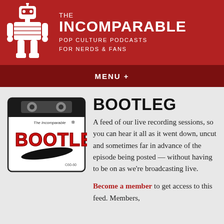THE INCOMPARABLE — POP CULTURE PODCASTS FOR NERDS & FANS
MENU+
[Figure (illustration): Cassette tape with 'The Incomparable' and 'BOOTLEG' written on it in red graffiti-style lettering, with a blimp illustration]
BOOTLEG
A feed of our live recording sessions, so you can hear it all as it went down, uncut and sometimes far in advance of the episode being posted — without having to be on as we're broadcasting live.
Become a member to get access to this feed. Members,